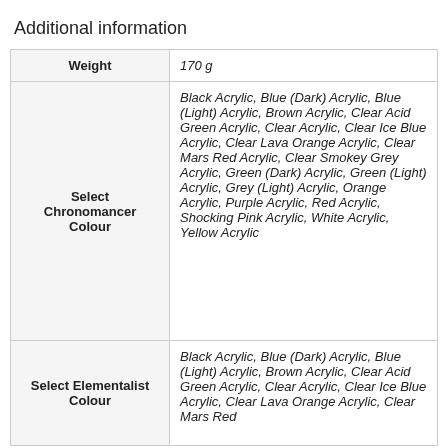Additional information
| Weight | 170 g |
| Select Chronomancer Colour | Black Acrylic, Blue (Dark) Acrylic, Blue (Light) Acrylic, Brown Acrylic, Clear Acid Green Acrylic, Clear Acrylic, Clear Ice Blue Acrylic, Clear Lava Orange Acrylic, Clear Mars Red Acrylic, Clear Smokey Grey Acrylic, Green (Dark) Acrylic, Green (Light) Acrylic, Grey (Light) Acrylic, Orange Acrylic, Purple Acrylic, Red Acrylic, Shocking Pink Acrylic, White Acrylic, Yellow Acrylic |
| Select Elementalist Colour | Black Acrylic, Blue (Dark) Acrylic, Blue (Light) Acrylic, Brown Acrylic, Clear Acid Green Acrylic, Clear Acrylic, Clear Ice Blue Acrylic, Clear Lava Orange Acrylic, Clear Mars Red |